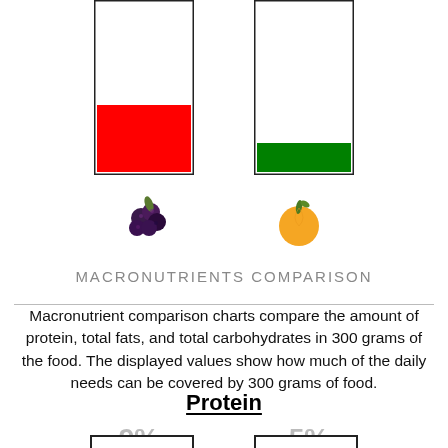[Figure (infographic): Two vertical bar containers at the top — left bar has a red fill at the bottom portion, right bar has a green fill at the bottom portion, representing macronutrient levels for two foods (mulberries and mandarin orange).]
[Figure (photo): Two fruit icons: left is dark mulberries/blackberries, right is an orange/mandarin with leaf.]
MACRONUTRIENTS COMPARISON
Macronutrient comparison charts compare the amount of protein, total fats, and total carbohydrates in 300 grams of the food. The displayed values show how much of the daily needs can be covered by 300 grams of food.
Protein
9%
5%
[Figure (infographic): Two small vertical bar containers at the bottom of the page for protein comparison, partially cut off.]